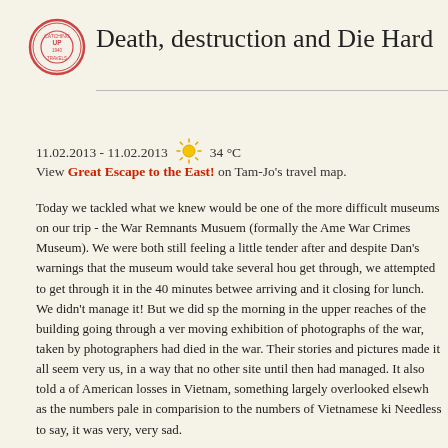[Figure (logo): Circular travel blog logo with red border and text]
Death, destruction and Die Hard
11.02.2013 - 11.02.2013  [sun icon]  34 °C
View Great Escape to the East! on Tam-Jo's travel map.
Today we tackled what we knew would be one of the more difficult museums on our trip - the War Remnants Musuem (formally the Ame War Crimes Museum). We were both still feeling a little tender after and despite Dan's warnings that the museum would take several hou get through, we attempted to get through it in the 40 minutes betwee arriving and it closing for lunch. We didn't manage it! But we did sp the morning in the upper reaches of the building going through a ver moving exhibition of photographs of the war, taken by photographers had died in the war. Their stories and pictures made it all seem very us, in a way that no other site until then had managed. It also told a of American losses in Vietnam, something largely overlooked elsewh as the numbers pale in comparision to the numbers of Vietnamese ki Needless to say, it was very, very sad.
[Figure (photo): Photograph showing colourful market scene with hats and umbrellas]